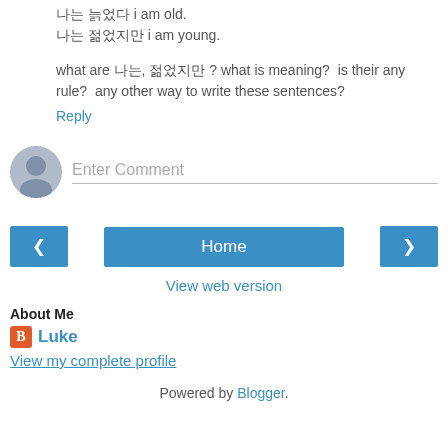나는 늙었다 i am old.
나는 젊었지만 i am young.
what are 나는, 젊었지만 ? what is meaning? is their any rule? any other way to write these sentences?
Reply
[Figure (other): Comment entry area with user avatar icon and 'Enter Comment' placeholder text input field]
[Figure (other): Navigation bar with left arrow button, Home button, and right arrow button]
View web version
About Me
Luke
View my complete profile
Powered by Blogger.